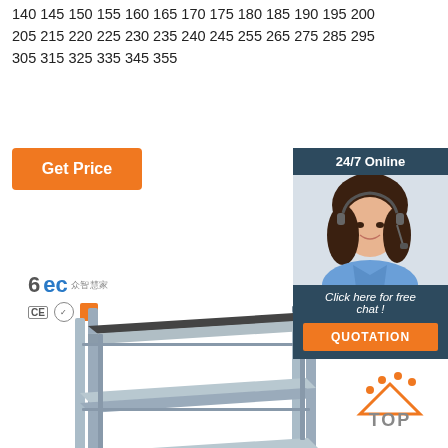140 145 150 155 160 165 170 175 180 185 190 195 200 205 215 220 225 230 235 240 245 255 265 275 285 295 305 315 325 335 345 355
[Figure (other): Orange 'Get Price' button]
[Figure (other): 6EC company logo with CE badges]
[Figure (photo): Metal shelving/racking unit with two shelves and vertical supports]
[Figure (other): 24/7 Online chat widget with woman wearing headset, 'Click here for free chat!' text, and orange QUOTATION button]
[Figure (other): Orange TOP icon with dots above and orange text TOP]